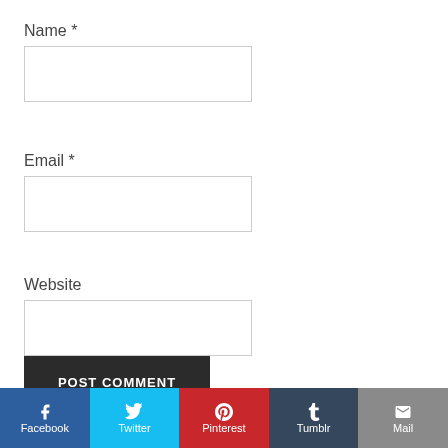Name *
[Figure (other): Text input box for Name field]
Email *
[Figure (other): Text input box for Email field]
Website
[Figure (other): Text input box for Website field]
POST COMMENT
[Figure (infographic): Social sharing bar with Facebook, Twitter, Pinterest, Tumblr, and Mail buttons]